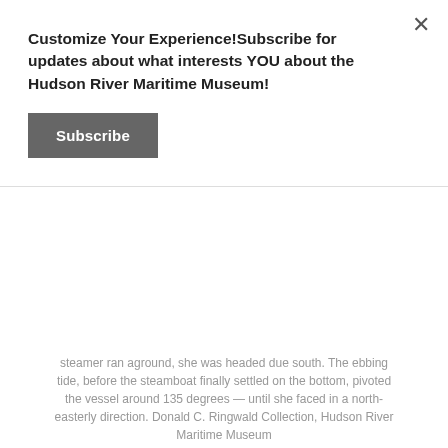Customize Your Experience!Subscribe for updates about what interests YOU about the Hudson River Maritime Museum!
Subscribe
steamer ran aground, she was headed due south. The ebbing tide, before the steamboat finally settled on the bottom, pivoted the vessel around 135 degrees — until she faced in a north-easterly direction. Donald C. Ringwald Collection, Hudson River Maritime Museum
On the night of Sept. 17, 1919 —53 years ago tonight — the steamboat "Point Comfort" ran aground on Esopus Island and became a total loss. Her wreck remained there until it was finally removed in the early 1930's. On the night of the accident, the steamer had been bound for Catskill and her presence on the river was due to a great reduction in service by the Catskill Evening Line.
The Catskill Evening Line was one of the first of the